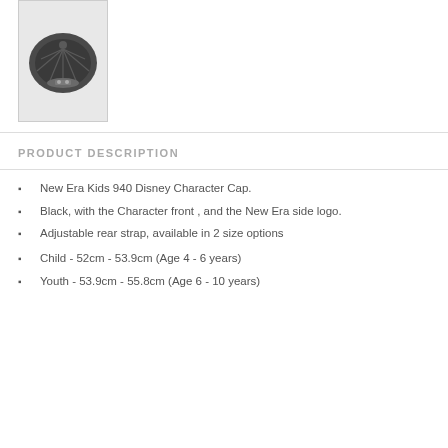[Figure (photo): Bottom view of a black baseball cap thumbnail]
PRODUCT DESCRIPTION
New Era Kids 940 Disney Character Cap.
Black, with the Character front , and the New Era side logo.
Adjustable rear strap, available in 2 size options
Child - 52cm - 53.9cm (Age 4 - 6 years)
Youth - 53.9cm - 55.8cm (Age 6 - 10 years)